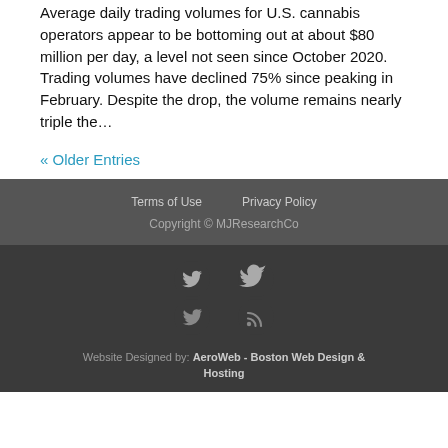Average daily trading volumes for U.S. cannabis operators appear to be bottoming out at about $80 million per day, a level not seen since October 2020. Trading volumes have declined 75% since peaking in February. Despite the drop, the volume remains nearly triple the…
« Older Entries
Terms of Use   Privacy Policy   Copyright © MJResearchCo
Website Designed by: AeroWeb - Boston Web Design & Hosting